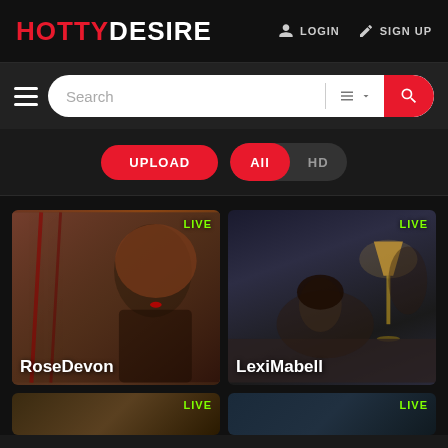HOTTYDESIRE — LOGIN  SIGN UP
Search
UPLOAD  ALL  HD
[Figure (photo): Card showing RoseDevon with LIVE badge, woman with red hair in black latex outfit against brick wall]
RoseDevon
[Figure (photo): Card showing LexiMabell with LIVE badge, brunette woman on bed with lamp in background]
LexiMabell
[Figure (photo): Bottom left card with LIVE badge]
[Figure (photo): Bottom right card with LIVE badge]